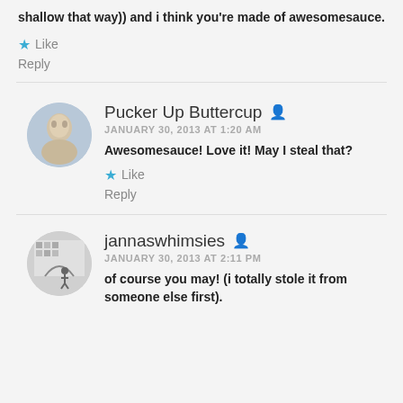shallow that way)) and i think you're made of awesomesauce.
Like
Reply
Pucker Up Buttercup
JANUARY 30, 2013 AT 1:20 AM
Awesomesauce! Love it! May I steal that?
Like
Reply
jannaswhimsies
JANUARY 30, 2013 AT 2:11 PM
of course you may! (i totally stole it from someone else first).